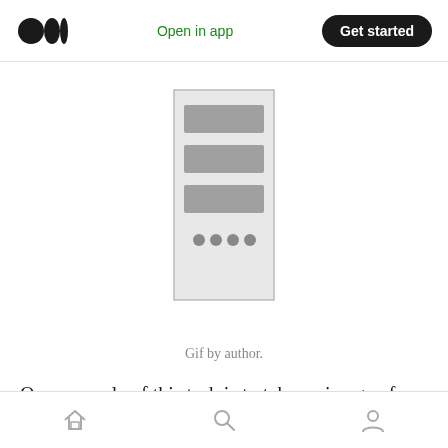Open in app  Get started
[Figure (illustration): Animated GIF illustration of a server/computer tower with stacked gray bars representing drive bays and four dots at the bottom, with the word 'Input' shown to the left in light gray text.]
Gif by author.
One example of this task is to take an image of a handwritten number and then get the machine to recognize what number it is.
Home  Search  Profile